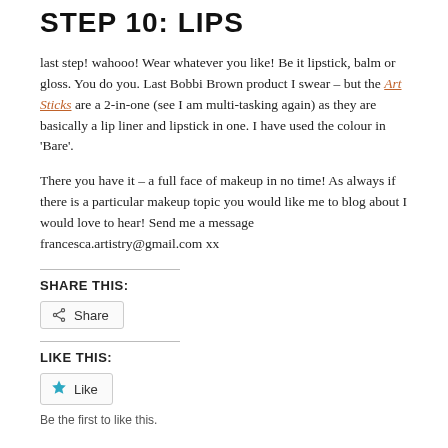STEP 10: LIPS
last step! wahooo! Wear whatever you like! Be it lipstick, balm or gloss. You do you. Last Bobbi Brown product I swear – but the Art Sticks are a 2-in-one (see I am multi-tasking again) as they are basically a lip liner and lipstick in one. I have used the colour in 'Bare'.
There you have it – a full face of makeup in no time! As always if there is a particular makeup topic you would like me to blog about I would love to hear! Send me a message francesca.artistry@gmail.com xx
SHARE THIS:
[Figure (other): Share button with share icon]
LIKE THIS:
[Figure (other): Like button with star icon]
Be the first to like this.